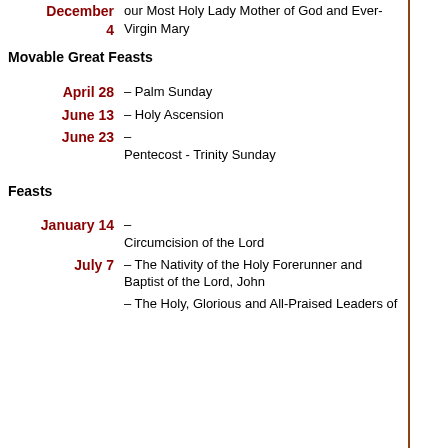| Date | Description |
| --- | --- |
| December 4 | our Most Holy Lady Mother of God and Ever-Virgin Mary |
|  | Movable Great Feasts |
| April 28 | – Palm Sunday |
| June 13 | – Holy Ascension |
| June 23 | – Pentecost - Trinity Sunday |
|  | Feasts |
| January 14 | – Circumcision of the Lord |
| July 7 | – The Nativity of the Holy Forerunner and Baptist of the Lord, John |
|  | – The Holy, Glorious and All-Praised Leaders of |